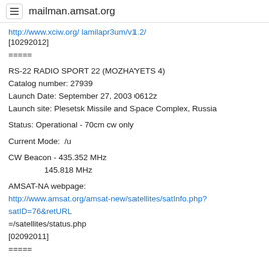mailman.amsat.org
http://www.xciw.org/ lamilapr3um/v1.2/
[10292012]
=====
RS-22 RADIO SPORT 22 (MOZHAYETS 4)
Catalog number: 27939
Launch Date: September 27, 2003 0612z
Launch site: Plesetsk Missile and Space Complex, Russia
Status: Operational - 70cm cw only
Current Mode:  /u
CW Beacon - 435.352 MHz
           145.818 MHz
AMSAT-NA webpage:
http://www.amsat.org/amsat-new/satellites/satInfo.php?satID=76&retURL
=/satellites/status.php
[02092011]
=====